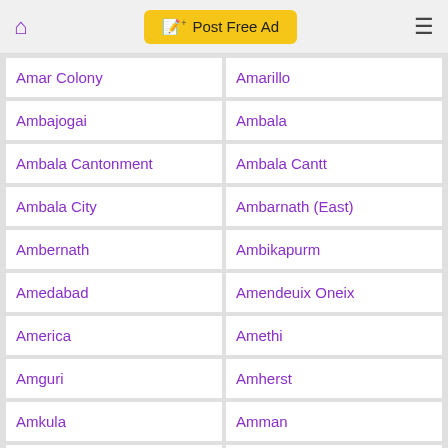Post Free Ad
Amar Colony
Amarillo
Ambajogai
Ambala
Ambala Cantonment
Ambala Cantt
Ambala City
Ambarnath (East)
Ambernath
Ambikapurm
Amedabad
Amendeuix Oneix
America
Amethi
Amguri
Amherst
Amkula
Amman
Ampang
Amravati